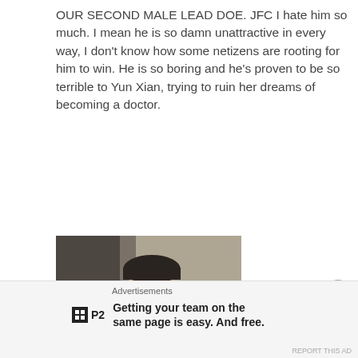OUR SECOND MALE LEAD DOE. JFC I hate him so much. I mean he is so damn unattractive in every way, I don’t know how some netizens are rooting for him to win. He is so boring and he’s proven to be so terrible to Yun Xian, trying to ruin her dreams of becoming a doctor.
[Figure (photo): Screenshot from a period drama showing a young Asian man in traditional costume with a surprised or open-mouthed expression, dark background with paper screen windows]
[Figure (photo): Screenshot from a period drama showing a smiling young Asian man in traditional white costume with a hair ornament, green foliage in background]
Advertisements
Getting your team on the same page is easy. And free.